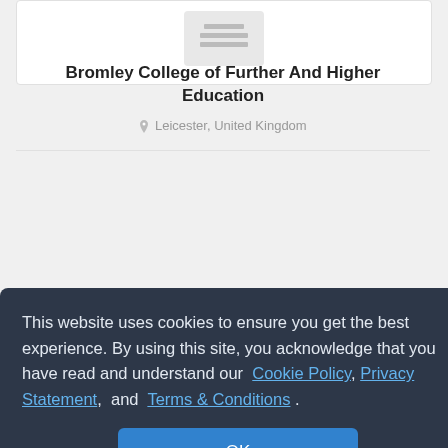[Figure (logo): Bromley College logo placeholder - grey rectangle with lines icon]
Bromley College of Further And Higher Education
Leicester, United Kingdom
[Figure (logo): Second institution logo - small image thumbnail]
ional College
This website uses cookies to ensure you get the best experience. By using this site, you acknowledge that you have read and understand our Cookie Policy, Privacy Statement, and Terms & Conditions .
OK
are similar ones you are looking for on this website here.
×